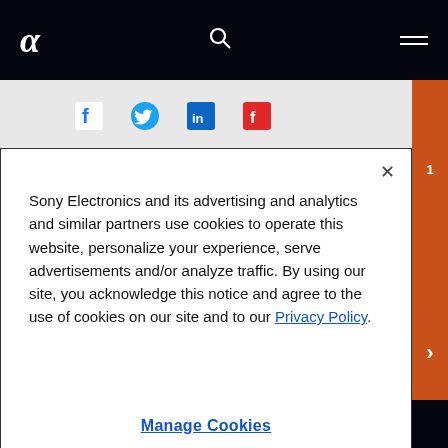α (Sony Alpha logo) | Search | Menu
[Figure (other): Social sharing icons: Facebook (f), Twitter (bird), LinkedIn (in), Flipboard (f)]
Sony Electronics and its advertising and analytics and similar partners use cookies to operate this website, personalize your experience, serve advertisements and/or analyze traffic. By using our site, you acknowledge this notice and agree to the use of cookies on our site and to our Privacy Policy.
Manage Cookies